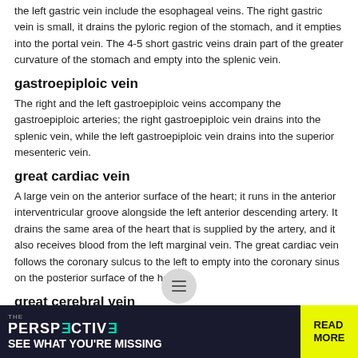the left gastric vein include the esophageal veins. The right gastric vein is small, it drains the pyloric region of the stomach, and it empties into the portal vein. The 4-5 short gastric veins drain part of the greater curvature of the stomach and empty into the splenic vein.
gastroepiploic vein
The right and the left gastroepiploic veins accompany the gastroepiploic arteries; the right gastroepiploic vein drains into the splenic vein, while the left gastroepiploic vein drains into the superior mesenteric vein.
great cardiac vein
A large vein on the anterior surface of the heart; it runs in the anterior interventricular groove alongside the left anterior descending artery. It drains the same area of the heart that is supplied by the artery, and it also receives blood from the left marginal vein. The great cardiac vein follows the coronary sulcus to the left to empty into the coronary sinus on the posterior surface of the heart.
great cerebral vein
Vein of Galen.
[Figure (other): Circular hamburger menu button overlay on page]
[Figure (other): Advertisement banner: THE PERSPECTIVE - SEE WHAT YOU'RE MISSING with READ MORE button in yellow]